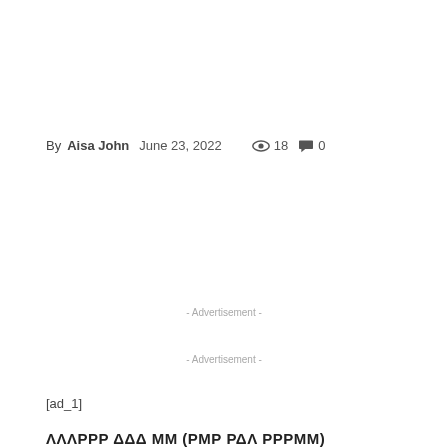By Aisa John   June 23, 2022   👁 18   💬 0
- Advertisement -
- Advertisement -
[ad_1]
ΛΛΛΡΡΡ ΔΔΔ ΜΜ (ΡΜΡ ΡΔΛ ΡΡΡΜΜ)